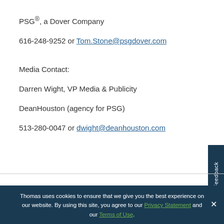PSG®, a Dover Company
616-248-9252 or Tom.Stone@psgdover.com
Media Contact:
Darren Wight, VP Media & Publicity
DeanHouston (agency for PSG)
513-280-0047 or dwight@deanhouston.com
Thomas uses cookies to ensure that we give you the best experience on our website. By using this site, you agree to our Privacy Statement and our Terms of Use.